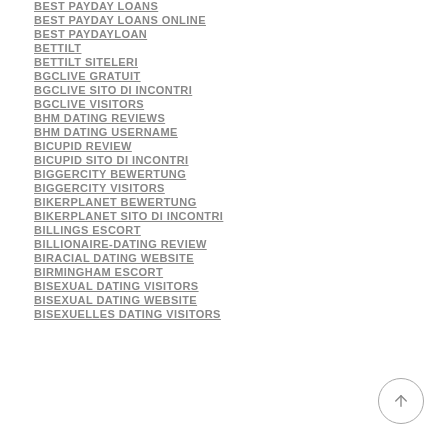BEST PAYDAY LOANS
BEST PAYDAY LOANS ONLINE
BEST PAYDAYLOAN
BETTILT
BETTILT SITELERI
BGCLIVE GRATUIT
BGCLIVE SITO DI INCONTRI
BGCLIVE VISITORS
BHM DATING REVIEWS
BHM DATING USERNAME
BICUPID REVIEW
BICUPID SITO DI INCONTRI
BIGGERCITY BEWERTUNG
BIGGERCITY VISITORS
BIKERPLANET BEWERTUNG
BIKERPLANET SITO DI INCONTRI
BILLINGS ESCORT
BILLIONAIRE-DATING REVIEW
BIRACIAL DATING WEBSITE
BIRMINGHAM ESCORT
BISEXUAL DATING VISITORS
BISEXUAL DATING WEBSITE
BISEXUELLES DATING VISITORS